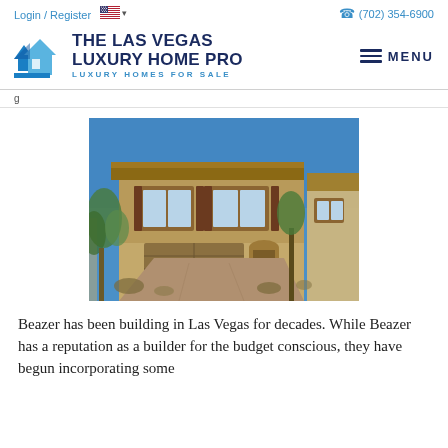Login / Register   (702) 354-6900
[Figure (logo): The Las Vegas Luxury Home Pro logo with blue house icon and text 'THE LAS VEGAS LUXURY HOME PRO - LUXURY HOMES FOR SALE']
g
[Figure (photo): A two-story stucco home in Las Vegas with tan/brown exterior, dark shutters, two-car garage, desert landscaping, and blue sky background]
Beazer has been building in Las Vegas for decades. While Beazer has a reputation as a builder for the budget conscious, they have begun incorporating some